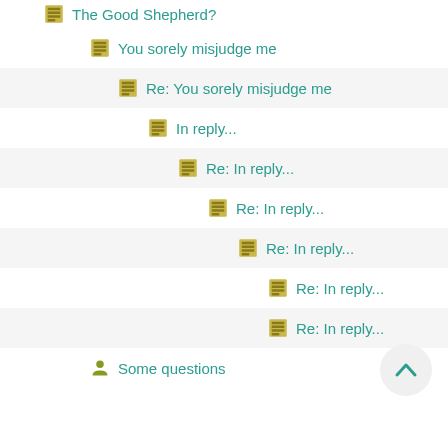The Good Shepherd?
You sorely misjudge me
Re: You sorely misjudge me
In reply...
Re: In reply...
Re: In reply...
Re: In reply...
Re: In reply...
Re: In reply...
Some questions